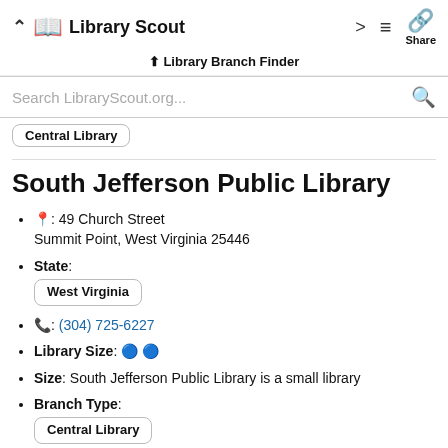Library Scout — Library Branch Finder
Search LibraryScout.org...
Central Library
South Jefferson Public Library
📍: 49 Church Street Summit Point, West Virginia 25446
State: West Virginia
📞: (304) 725-6227
Library Size: 🔵 🔵
Size: South Jefferson Public Library is a small library
Branch Type: Central Library